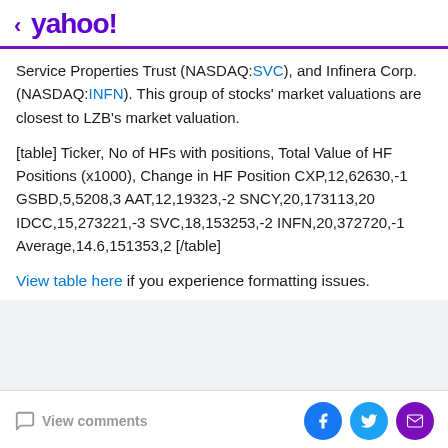< yahoo!
Service Properties Trust (NASDAQ:SVC), and Infinera Corp. (NASDAQ:INFN). This group of stocks' market valuations are closest to LZB's market valuation.
[table] Ticker, No of HFs with positions, Total Value of HF Positions (x1000), Change in HF Position CXP,12,62630,-1 GSBD,5,5208,3 AAT,12,19323,-2 SNCY,20,173113,20 IDCC,15,273221,-3 SVC,18,153253,-2 INFN,20,372720,-1 Average,14.6,151353,2 [/table]
View table here if you experience formatting issues.
View comments